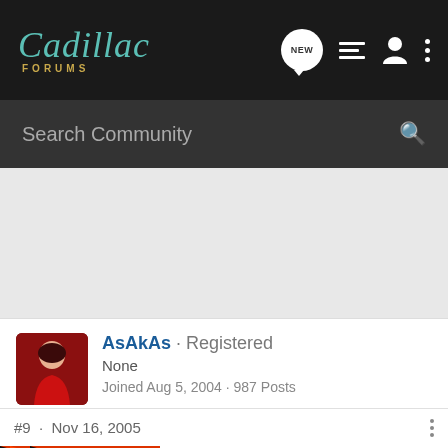Cadillac Forums
Search Community
AsAkAs · Registered
None
Joined Aug 5, 2004 · 987 Posts
#9 · Nov 16, 2005
[Figure (screenshot): Pedal Commander advertisement banner: YOU WILL SMILE 100% WITH PEDAL COMMANDER]